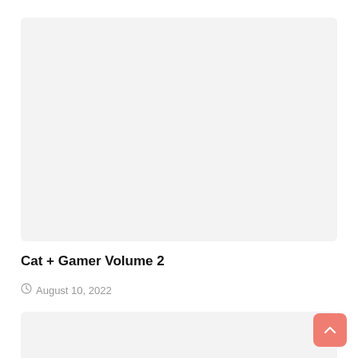[Figure (other): Large light gray placeholder image box at the top of the page]
Cat + Gamer Volume 2
August 10, 2022
[Figure (other): Light gray placeholder image box at the bottom of the page]
[Figure (other): Salmon/coral colored scroll-to-top button with upward chevron arrow in bottom right corner]